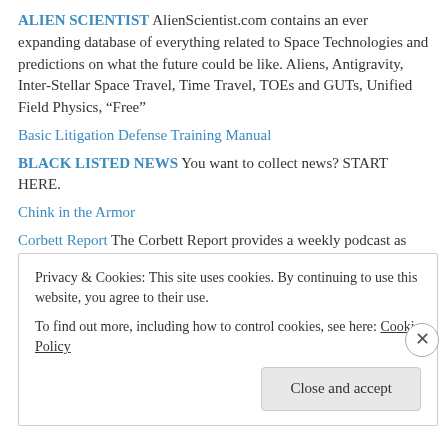ALIEN SCIENTIST AlienScientist.com contains an ever expanding database of everything related to Space Technologies and predictions on what the future could be like. Aliens, Antigravity, Inter-Stellar Space Travel, Time Travel, TOEs and GUTs, Unified Field Physics, “Free”
Basic Litigation Defense Training Manual
BLACK LISTED NEWS You want to collect news? START HERE.
Chink in the Armor
Corbett Report The Corbett Report provides a weekly podcast as well as interviews, articles and videos about current events and suppressed history from an independent perspective.
creditorsincommerce.com resources
Electronic Frontier Foundation (EFF) EFF fights for freedom primarily in the courts, bringing and defending lawsuits even when that means
Privacy & Cookies: This site uses cookies. By continuing to use this website, you agree to their use. To find out more, including how to control cookies, see here: Cookie Policy
Close and accept